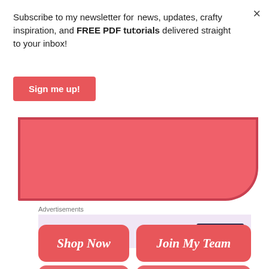×
Subscribe to my newsletter for news, updates, crafty inspiration, and FREE PDF tutorials delivered straight to your inbox!
[Figure (other): Red/coral 'Sign me up!' button]
[Figure (other): Pink rounded banner/card area]
Advertisements
[Figure (other): WordPress.com advertisement banner with 'Start Today' button on light purple background]
REPORT THIS AD
[Figure (other): Red rounded button labeled 'Shop Now']
[Figure (other): Red rounded button labeled 'Join My Team']
[Figure (other): Red rounded button labeled 'Register']
[Figure (other): Red rounded button labeled 'Contact Me']